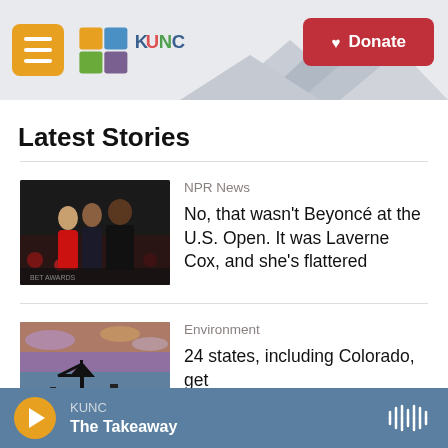KUNC — Donate
Latest Stories
[Figure (photo): Group of people at an event, woman in red dress prominent]
NPR News
No, that wasn't Beyoncé at the U.S. Open. It was Laverne Cox, and she's flattered
[Figure (photo): Oil pump jack silhouette against colorful sky at dusk]
Environment
24 states, including Colorado, get
KUNC — The Takeaway